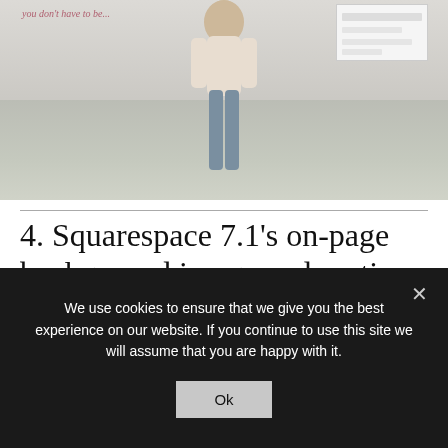[Figure (screenshot): Screenshot of a website page showing a woman standing in a flower field with text 'you don't have to be...' and a UI panel in the top right corner]
4. Squarespace 7.1's on-page background image and section height settings
LOCATION: SECTION SETTINGS
Pages > select page > edit > select section > pencil icon
We use cookies to ensure that we give you the best experience on our website. If you continue to use this site we will assume that you are happy with it.